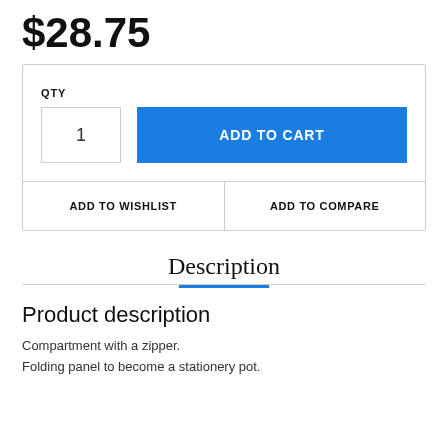$28.75
QTY
1
ADD TO CART
ADD TO WISHLIST
ADD TO COMPARE
Description
Product description
Compartment with a zipper.
Folding panel to become a stationery pot.